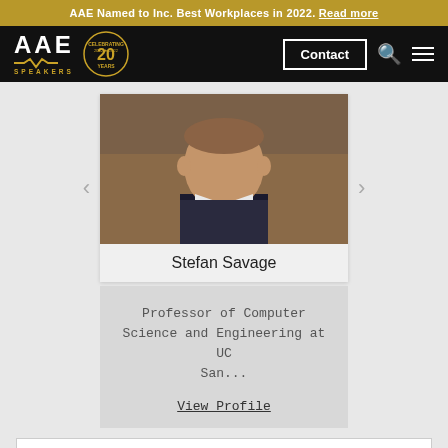AAE Named to Inc. Best Workplaces in 2022. Read more
[Figure (screenshot): AAE Speakers logo with Celebrating 20 Years badge, Contact button, search icon, and hamburger menu on black navbar]
[Figure (photo): Headshot photo of Stefan Savage, man in dark shirt with brown background]
Stefan Savage
Professor of Computer Science and Engineering at UC San...
View Profile
This website is a resource for event professionals and strives
NEW! The 2022 Speaking Industry Benchmark Report
1.800.698.2536   CONTACT US